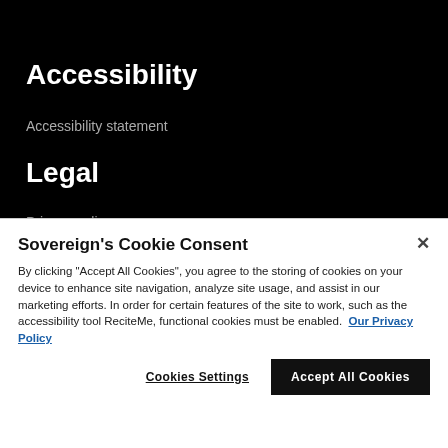Accessibility
Accessibility statement
Legal
Privacy policy
Sovereign's Cookie Consent
By clicking “Accept All Cookies”, you agree to the storing of cookies on your device to enhance site navigation, analyze site usage, and assist in our marketing efforts. In order for certain features of the site to work, such as the accessibility tool ReciteMe, functional cookies must be enabled.  Our Privacy Policy
Cookies Settings
Accept All Cookies